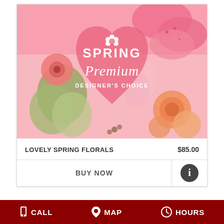[Figure (photo): Spring Premium Designer's Choice floral arrangement showing pink lilies, orange roses, green hydrangeas, and pink gerbera daisies with a semi-transparent pink heart overlay containing the product name]
LOVELY SPRING FLORALS	$85.00
BUY NOW
CALL   MAP   HOURS